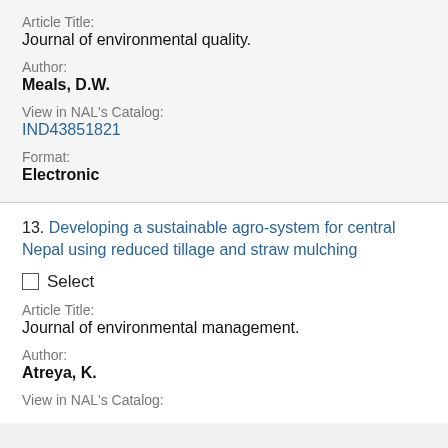Article Title:
Journal of environmental quality.
Author:
Meals, D.W.
View in NAL's Catalog:
IND43851821
Format:
Electronic
13. Developing a sustainable agro-system for central Nepal using reduced tillage and straw mulching
Select
Article Title:
Journal of environmental management.
Author:
Atreya, K.
View in NAL's Catalog: